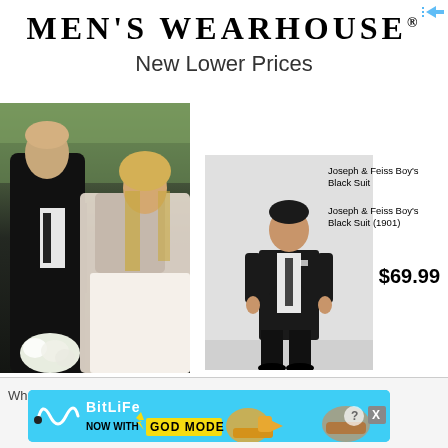MEN'S WEARHOUSE®
New Lower Prices
[Figure (photo): Couple at wedding, man in black tuxedo and woman in white dress]
[Figure (photo): Boy in black suit standing, product photo]
Joseph & Feiss Boy's Black Suit
Joseph & Feiss Boy's Black Suit (1901)
$69.99
Wh
[Figure (screenshot): BitLife ad banner: NOW WITH GOD MODE]